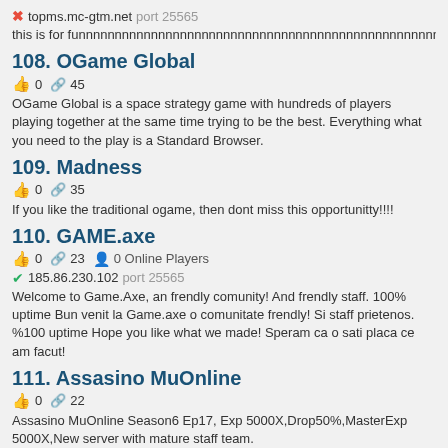✗ topms.mc-gtm.net  port 25565
this is for funnnnnnnnnnnnnnnnnnnnnnnnnnnnnnnnnnnnnnnnnnnnnnnnnnnnnnnnnnnnnnn
108. OGame Global
👍 0  🔗 45
OGame Global is a space strategy game with hundreds of players playing together at the same time trying to be the best. Everything what you need to the play is a Standard Browser.
109. Madness
👍 0  🔗 35
If you like the traditional ogame, then dont miss this opportunitty!!!!
110. GAME.axe
👍 0  🔗 23  👤 0 Online Players
✔ 185.86.230.102  port 25565
Welcome to Game.Axe, an frendly comunity! And frendly staff. 100% uptime Bun venit la Game.axe o comunitate frendly! Si staff prietenos. %100 uptime Hope you like what we made! Speram ca o sati placa ce am facut!
111. Assasino MuOnline
👍 0  🔗 22
Assasino MuOnline Season6 Ep17, Exp 5000X,Drop50%,MasterExp 5000X,New server with mature staff team.